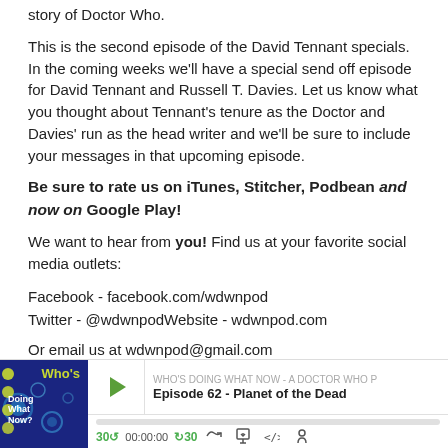story of Doctor Who.
This is the second episode of the David Tennant specials. In the coming weeks we'll have a special send off episode for David Tennant and Russell T. Davies. Let us know what you thought about Tennant's tenure as the Doctor and Davies' run as the head writer and we'll be sure to include your messages in that upcoming episode.
Be sure to rate us on iTunes, Stitcher, Podbean and now on Google Play!
We want to hear from you!  Find us at your favorite social media outlets:
Facebook - facebook.com/wdwnpod
Twitter - @wdwnpodWebsite - wdwnpod.com
Or email us at wdwnpod@gmail.com
Special Thanks to the Jackpot Golden Boys for our theme.  Find more of their great work on Youtube - https://www.youtube.com/user/jackpot
Or on their website - http://www.jackpotgoldenboys.com
[Figure (screenshot): Podcast player widget showing 'Who's Doing What Now - A Doctor Who Podcast' episode 'Episode 62 - Planet of the Dead' with play button, progress bar, and audio controls including 30-second skip back, time display 00:00:00, 30-second skip forward, RSS, download, embed, and share icons.]